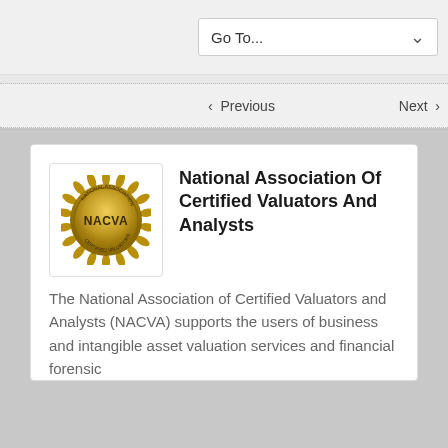Go To...
‹ Previous    Next ›
National Association Of Certified Valuators And Analysts
The National Association of Certified Valuators and Analysts (NACVA) supports the users of business and intangible asset valuation services and financial forensic